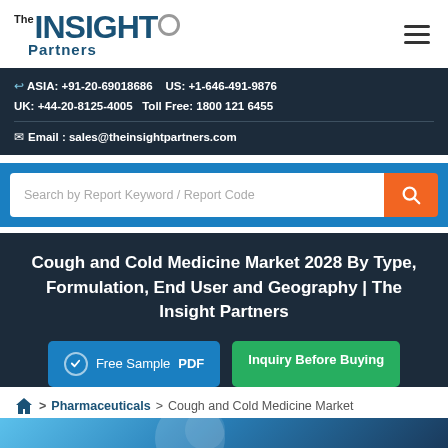[Figure (logo): The Insight Partners logo with circular element]
ASIA: +91-20-69018686   US: +1-646-491-9876
UK: +44-20-8125-4005   Toll Free: 1800 121 6455
Email : sales@theinsightpartners.com
Search by Report Keyword / Report Code
Cough and Cold Medicine Market 2028 By Type, Formulation, End User and Geography | The Insight Partners
Free Sample PDF
Inquiry Before Buying
> Pharmaceuticals > Cough and Cold Medicine Market